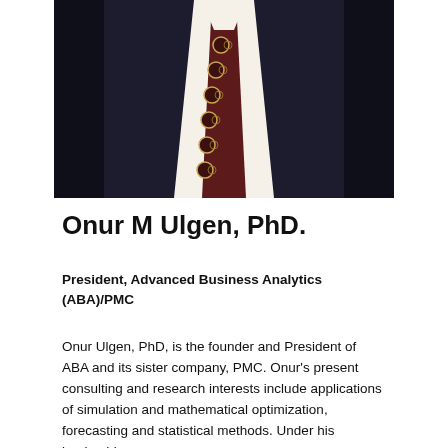[Figure (photo): Professional headshot photo of Onur M Ulgen, PhD. showing his torso in a dark suit with a white shirt and a burgundy patterned tie against a dark background.]
Onur M Ulgen, PhD.
President, Advanced Business Analytics (ABA)/PMC
Onur Ulgen, PhD, is the founder and President of ABA and its sister company, PMC. Onur's present consulting and research interests include applications of simulation and mathematical optimization, forecasting and statistical methods. Under his leadership,